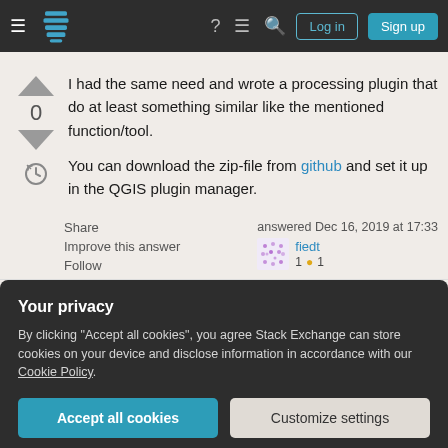Stack Exchange navigation bar with Log in and Sign up buttons
I had the same need and wrote a processing plugin that do at least something similar like the mentioned function/tool.
You can download the zip-file from github and set it up in the QGIS plugin manager.
Share
Improve this answer
Follow
answered Dec 16, 2019 at 17:33
fiedt
1 1
Add a comment
Your privacy
By clicking "Accept all cookies", you agree Stack Exchange can store cookies on your device and disclose information in accordance with our Cookie Policy.
Accept all cookies
Customize settings